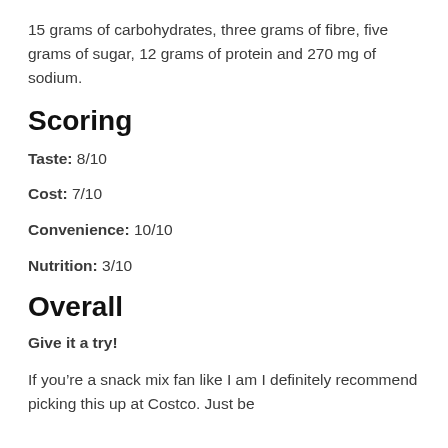15 grams of carbohydrates, three grams of fibre, five grams of sugar, 12 grams of protein and 270 mg of sodium.
Scoring
Taste: 8/10
Cost: 7/10
Convenience: 10/10
Nutrition: 3/10
Overall
Give it a try!
If you’re a snack mix fan like I am I definitely recommend picking this up at Costco. Just be